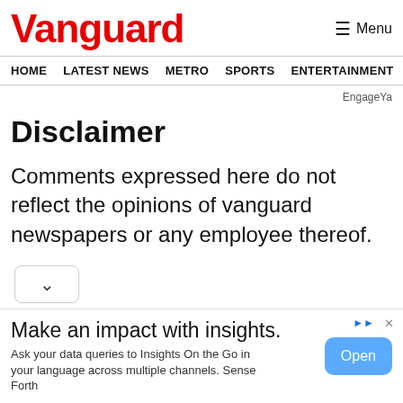Vanguard
HOME  LATEST NEWS  METRO  SPORTS  ENTERTAINMENT  VIDEOS
EngageYa
Disclaimer
Comments expressed here do not reflect the opinions of vanguard newspapers or any employee thereof.
[Figure (other): Advertisement banner: Make an impact with insights. Ask your data queries to Insights On the Go in your language across multiple channels. Sense Forth. Open button.]